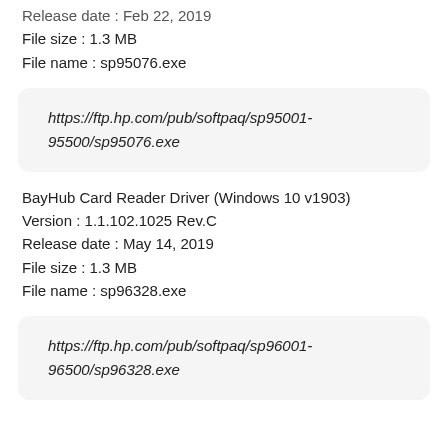Release date : Feb 22, 2019
File size : 1.3 MB
File name : sp95076.exe
https://ftp.hp.com/pub/softpaq/sp95001-95500/sp95076.exe
BayHub Card Reader Driver (Windows 10 v1903)
Version : 1.1.102.1025 Rev.C
Release date : May 14, 2019
File size : 1.3 MB
File name : sp96328.exe
https://ftp.hp.com/pub/softpaq/sp96001-96500/sp96328.exe